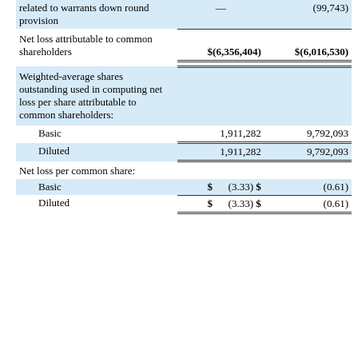|  | Col1 | Col2 |
| --- | --- | --- |
| related to warrants down round provision | — | (99,743) |
| Net loss attributable to common shareholders | $(6,356,404) | $(6,016,530) |
| Weighted-average shares outstanding used in computing net loss per share attributable to common shareholders: |  |  |
| Basic | 1,911,282 | 9,792,093 |
| Diluted | 1,911,282 | 9,792,093 |
| Net loss per common share: |  |  |
| Basic | $ (3.33) | $ (0.61) |
| Diluted | $ (3.33) | $ (0.61) |